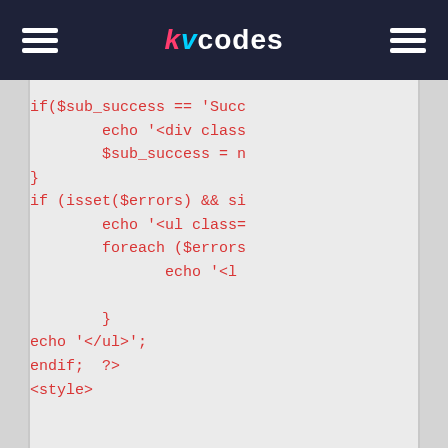kvcodes
[Figure (screenshot): PHP code snippet showing if/else conditional logic with echo statements, foreach loop, and style tag on a light grey background]